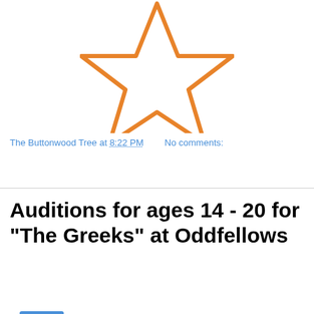[Figure (illustration): An orange outline star shape, drawn with thick strokes, centered in the upper portion of the page on a white background.]
The Buttonwood Tree at 8:22 PM    No comments:
Share
Auditions for ages 14 - 20 for "The Greeks" at Oddfellows